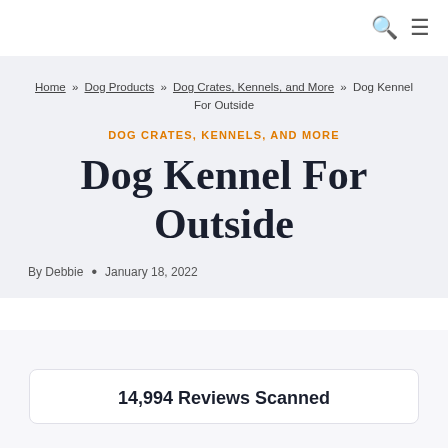🔍 ☰
Home » Dog Products » Dog Crates, Kennels, and More » Dog Kennel For Outside
DOG CRATES, KENNELS, AND MORE
Dog Kennel For Outside
By Debbie • January 18, 2022
14,994 Reviews Scanned